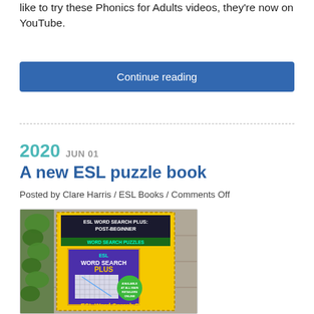like to try these Phonics for Adults videos, they're now on YouTube.
Continue reading
2020  JUN 01
A new ESL puzzle book
Posted by Clare Harris / ESL Books / Comments Off
[Figure (photo): Book cover of ESL Word Search Plus: Post-Beginner Word Search Puzzles, shown propped against a wooden background with ivy/leaves visible on the left side. The cover has a yellow background with a purple inner box showing the book title and a word search puzzle grid.]